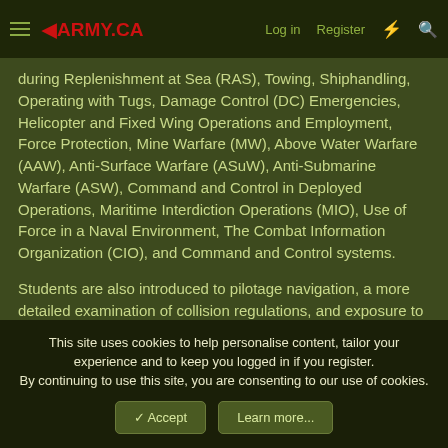≡ ◄ARMY.CA   Log in   Register   ⚡   🔍
during Replenishment at Sea (RAS), Towing, Shiphandling, Operating with Tugs, Damage Control (DC) Emergencies, Helicopter and Fixed Wing Operations and Employment, Force Protection, Mine Warfare (MW), Above Water Warfare (AAW), Anti-Surface Warfare (ASuW), Anti-Submarine Warfare (ASW), Command and Control in Deployed Operations, Maritime Interdiction Operations (MIO), Use of Force in a Naval Environment, The Combat Information Organization (CIO), and Command and Control systems.
Students are also introduced to pilotage navigation, a more detailed examination of collision regulations, and exposure to CAF administration including the divisional system, CFPAS, and administrative and disciplinary procedures. Three weeks are
This site uses cookies to help personalise content, tailor your experience and to keep you logged in if you register.
By continuing to use this site, you are consenting to our use of cookies.